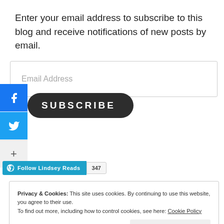Enter your email address to subscribe to this blog and receive notifications of new posts by email.
[Figure (screenshot): Email address input field with placeholder text 'Email Address']
[Figure (screenshot): Social share sidebar with Facebook, Twitter, and more buttons on the left; SUBSCRIBE dark rounded button]
[Figure (screenshot): WordPress Follow Lindsey Reads button with follower count 347]
Privacy & Cookies: This site uses cookies. By continuing to use this website, you agree to their use. To find out more, including how to control cookies, see here: Cookie Policy
Close and accept